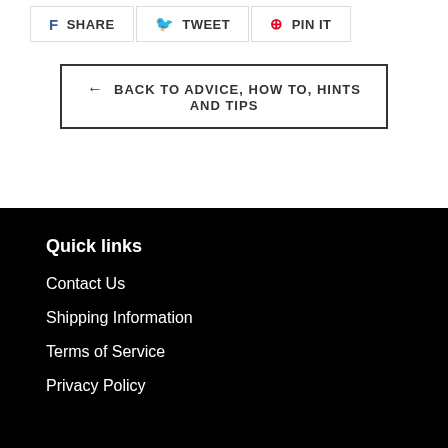[Figure (other): Social share buttons: Facebook SHARE, Twitter TWEET, Pinterest PIN IT]
← BACK TO ADVICE, HOW TO, HINTS AND TIPS
Quick links
Contact Us
Shipping Information
Terms of Service
Privacy Policy